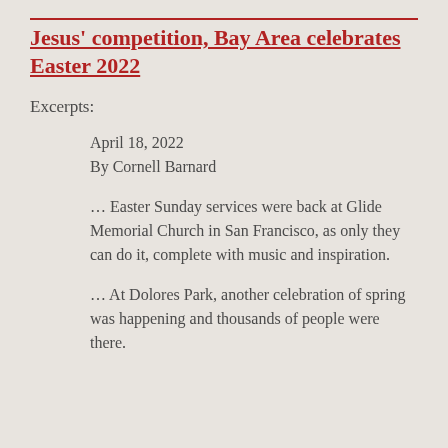Jesus' competition, Bay Area celebrates Easter 2022
Excerpts:
April 18, 2022
By Cornell Barnard
… Easter Sunday services were back at Glide Memorial Church in San Francisco, as only they can do it, complete with music and inspiration.
… At Dolores Park, another celebration of spring was happening and thousands of people were there.